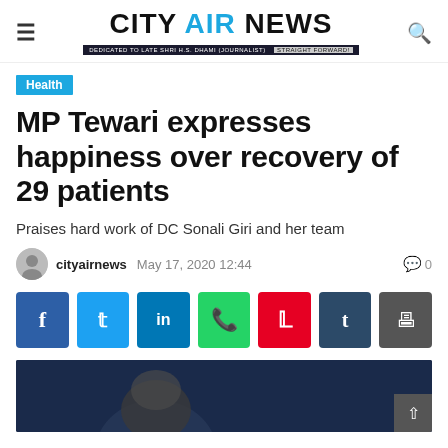CITY AIR NEWS
Health
MP Tewari expresses happiness over recovery of 29 patients
Praises hard work of DC Sonali Giri and her team
cityairnews  May 17, 2020 12:44   0
[Figure (other): Social media sharing buttons: Facebook, Twitter, LinkedIn, WhatsApp, Pinterest, Tumblr, Print]
[Figure (photo): Partial photo at the bottom of the page showing a person against a dark blue background]